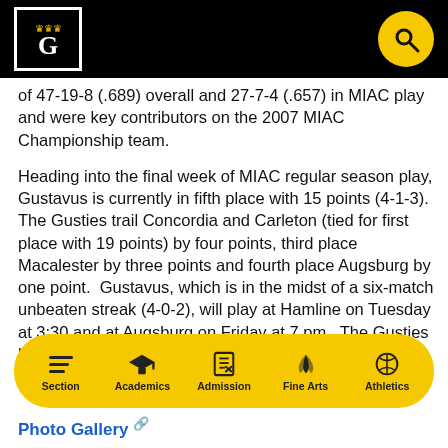Gustavus Adolphus College header with logo and search icon
of 47-19-8 (.689) overall and 27-7-4 (.657) in MIAC play and were key contributors on the 2007 MIAC Championship team.
Heading into the final week of MIAC regular season play, Gustavus is currently in fifth place with 15 points (4-1-3). The Gusties trail Concordia and Carleton (tied for first place with 19 points) by four points, third place Macalester by three points and fourth place Augsburg by one point. Gustavus, which is in the midst of a six-match unbeaten streak (4-0-2), will play at Hamline on Tuesday at 3:30 and at Augsburg on Friday at 7 pm. The Gusties have out-scored their opponents 11-1 during the unbeaten streak.
Section | Academics | Admission | Fine Arts | Athletics
Photo Gallery